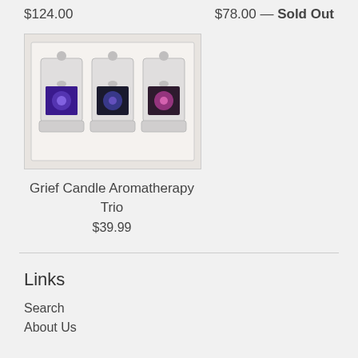$124.00
$78.00 — Sold Out
[Figure (photo): Three glass jar candles with nebula/galaxy imagery labels in a white gift box packaging]
Grief Candle Aromatherapy Trio
$39.99
Links
Search
About Us